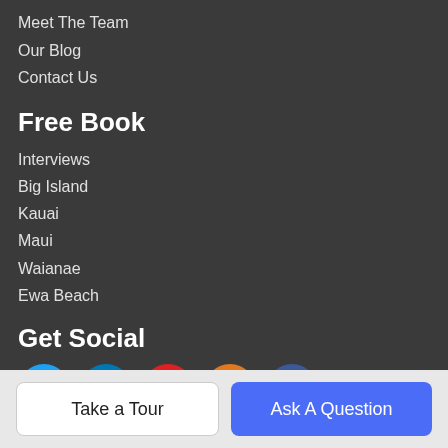Meet The Team
Our Blog
Contact Us
Free Book
Interviews
Big Island
Kauai
Maui
Waianae
Ewa Beach
Get Social
[Figure (infographic): Social media icon buttons: Twitter (blue), LinkedIn (blue), YouTube (red), RSS (orange), Facebook (dark blue)]
About Us
Take a Tour
Ask A Question